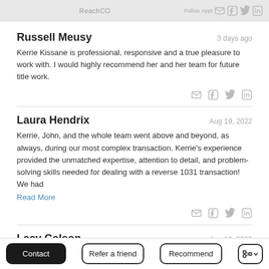ReachCO · email · facebook · twitter · linkedin · Follow · Appt
Russell Meusy
3 days ago
Kerrie Kissane is professional, responsive and a true pleasure to work with. I would highly recommend her and her team for future title work.
Laura Hendrix
Aug 19, 2022
Kerrie, John, and the whole team went above and beyond, as always, during our most complex transaction. Kerrie's experience provided the unmatched expertise, attention to detail, and problem-solving skills needed for dealing with a reverse 1031 transaction! We had
Read More
Lacy Colson
Aug 19, 2022
Contact · Refer a friend · Recommend · Share